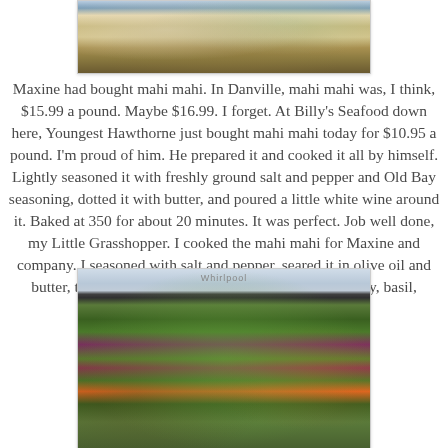[Figure (photo): Photo of mahi mahi fish on a decorative blue and white plate, partially cropped at top of page]
Maxine had bought mahi mahi. In Danville, mahi mahi was, I think, $15.99 a pound. Maybe $16.99. I forget. At Billy's Seafood down here, Youngest Hawthorne just bought mahi mahi today for $10.95 a pound. I'm proud of him. He prepared it and cooked it all by himself. Lightly seasoned it with freshly ground salt and pepper and Old Bay seasoning, dotted it with butter, and poured a little white wine around it. Baked at 350 for about 20 minutes. It was perfect. Job well done, my Little Grasshopper. I cooked the mahi mahi for Maxine and company. I seasoned with salt and pepper, seared it in olive oil and butter, then made a sauce of butter, lemon juice, parsley, basil, capers, and black olives.
[Figure (photo): Photo of a colorful salad with arugula, purple cabbage, orange carrots, green vegetables in a glass bowl on a kitchen counter with a Whirlpool appliance in background]